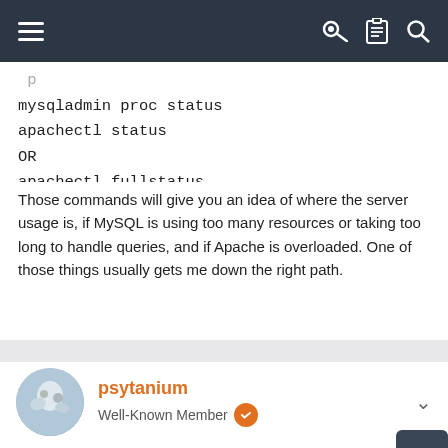navigation bar with hamburger menu and icons
mysqladmin proc status
apachectl status
OR
apachectl fullstatus
Those commands will give you an idea of where the server usage is, if MySQL is using too many resources or taking too long to handle queries, and if Apache is overloaded. One of those things usually gets me down the right path.
psytanium
Well-Known Member
Jan 26, 2022
cPRex said:
It's nearly impossible to find the cause of high load after it has